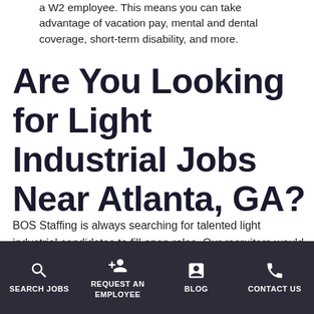a W2 employee. This means you can take advantage of vacation pay, mental and dental coverage, short-term disability, and more.
Are You Looking for Light Industrial Jobs Near Atlanta, GA?
BOS Staffing is always searching for talented light industrial candidates to fill open roles. Our recruiters would be happy to help you find your right-fit job. Browse our available openings today!
SEARCH JOBS | REQUEST AN EMPLOYEE | BLOG | CONTACT US